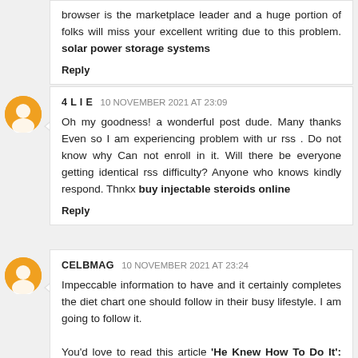browser is the marketplace leader and a huge portion of folks will miss your excellent writing due to this problem. solar power storage systems
Reply
4 L I E  10 NOVEMBER 2021 AT 23:09
Oh my goodness! a wonderful post dude. Many thanks Even so I am experiencing problem with ur rss . Do not know why Can not enroll in it. Will there be everyone getting identical rss difficulty? Anyone who knows kindly respond. Thnkx buy injectable steroids online
Reply
CELBMAG  10 NOVEMBER 2021 AT 23:24
Impeccable information to have and it certainly completes the diet chart one should follow in their busy lifestyle. I am going to follow it. You'd love to read this article 'He Knew How To Do It': Serena Williams Reveals Why She And Venus
Reply